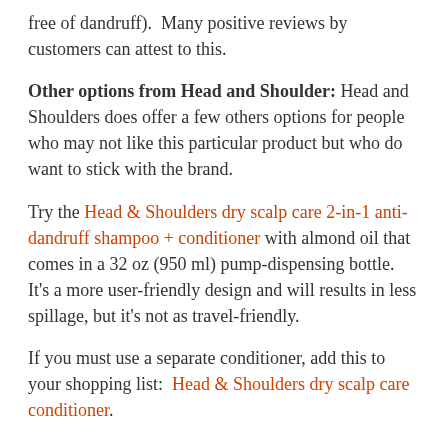free of dandruff).  Many positive reviews by customers can attest to this.
Other options from Head and Shoulder: Head and Shoulders does offer a few others options for people who may not like this particular product but who do want to stick with the brand.
Try the Head & Shoulders dry scalp care 2-in-1 anti-dandruff shampoo + conditioner with almond oil that comes in a 32 oz (950 ml) pump-dispensing bottle.  It's a more user-friendly design and will results in less spillage, but it's not as travel-friendly.
If you must use a separate conditioner, add this to your shopping list:  Head & Shoulders dry scalp care conditioner.